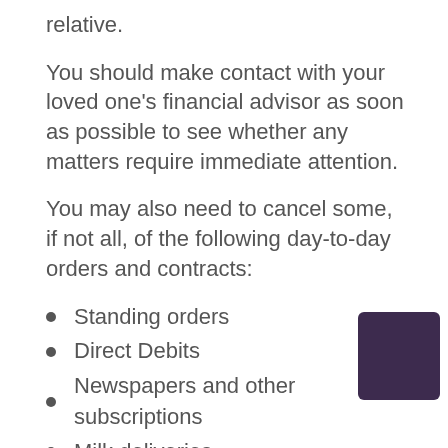relative.
You should make contact with your loved one's financial advisor as soon as possible to see whether any matters require immediate attention.
You may also need to cancel some, if not all, of the following day-to-day orders and contracts:
Standing orders
Direct Debits
Newspapers and other subscriptions
Milk deliveries
Telephone and internet connections (partial, cut off)